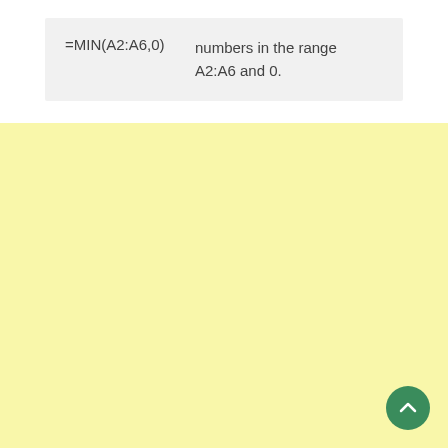| Formula | Description |
| --- | --- |
| =MIN(A2:A6,0) | numbers in the range A2:A6 and 0. |
[Figure (other): Large pale yellow blank area filling the bottom portion of the page, with a green circular scroll-to-top button in the bottom-right corner.]